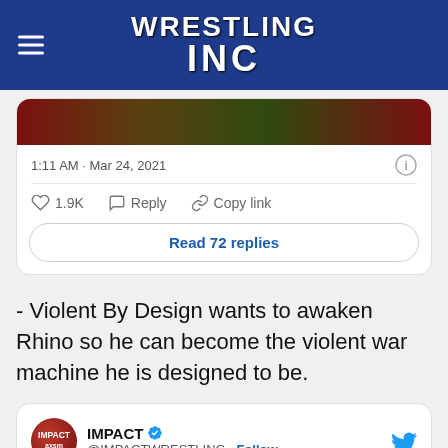Wrestling Inc
[Figure (screenshot): Partial tweet image strip showing a wrestler with championship belt]
1:11 AM · Mar 24, 2021
1.9K  Reply  Copy link
Read 72 replies
- Violent By Design wants to awaken Rhino so he can become the violent war machine he is designed to be.
IMPACT @IMPACTWRESTLING · Follow
"He was born Violent By Design, it's in his DNA."